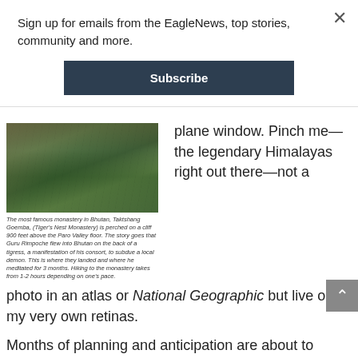Sign up for emails from the EagleNews, top stories, community and more.
Subscribe
[Figure (photo): Photo of Tiger's Nest Monastery (Taktshang Goemba) perched on a cliff with Himalayan forest in background, with prayer flags visible]
The most famous monastery in Bhutan, Taktshang Goemba, (Tiger's Nest Monastery) is perched on a cliff 900 feet above the Paro Valley floor. The story goes that Guru Rimpoche flew into Bhutan on the back of a tigress, a manifestation of his consort, to subdue a local demon. This is where they landed and where he meditated for 3 months. Hiking to the monastery takes from 1-2 hours depending on one's pace.
plane window. Pinch me—the legendary Himalayas right out there—not a
photo in an atlas or National Geographic but live on my very own retinas.
Months of planning and anticipation are about to become reality. Aboard one of the two Boeing 737s permitted to fly in and out of the Himalayan kingdom of